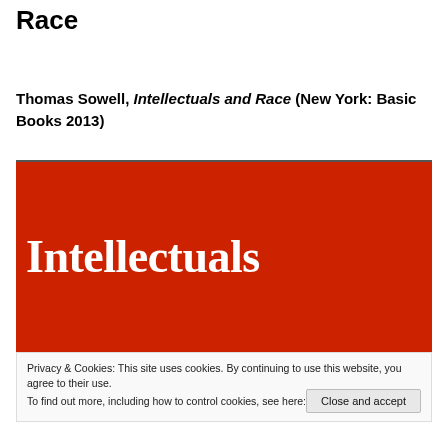Race
Thomas Sowell, Intellectuals and Race (New York: Basic Books 2013)
[Figure (photo): Red book cover with white serif text reading 'Intellectuals']
Privacy & Cookies: This site uses cookies. By continuing to use this website, you agree to their use.
To find out more, including how to control cookies, see here: Cookie Policy